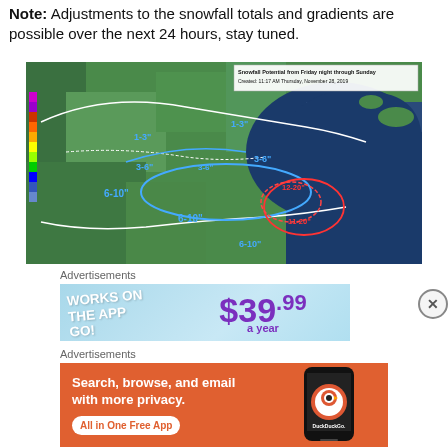Note: Adjustments to the snowfall totals and gradients are possible over the next 24 hours, stay tuned.
[Figure (map): Snowfall potential map from Friday night through Sunday, created 11:17 AM Thursday, November 28, 2019. Shows regions with snowfall amounts labeled: 1-3", 3-6", 6-10", and 11-20" in oval regions near Lake Huron area.]
Advertisements
[Figure (infographic): Advertisement banner: WORKS ON THE APP GO! on left side, $39.99 a year in large purple text on light blue background]
Advertisements
[Figure (infographic): DuckDuckGo advertisement on orange background: Search, browse, and email with more privacy. All in One Free App. Shows DuckDuckGo app icon and phone mockup.]